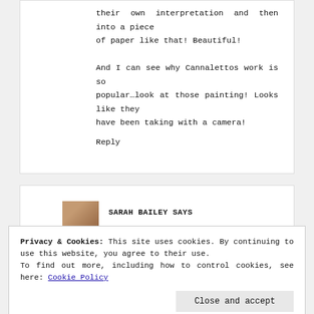their own interpretation and then into a piece of paper like that! Beautiful!
And I can see why Cannalettos work is so popular…look at those painting! Looks like they have been taking with a camera!
Reply
SARAH BAILEY SAYS
Privacy & Cookies: This site uses cookies. By continuing to use this website, you agree to their use.
To find out more, including how to control cookies, see here: Cookie Policy
Close and accept
information out about painters does interest